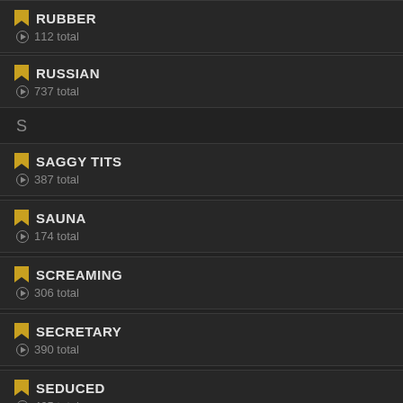RUBBER - 112 total
RUSSIAN - 737 total
S
SAGGY TITS - 387 total
SAUNA - 174 total
SCREAMING - 306 total
SECRETARY - 390 total
SEDUCED - 465 total